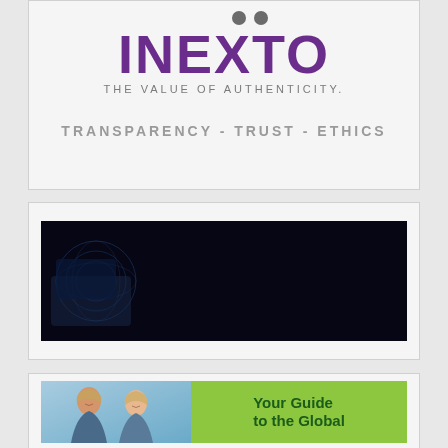[Figure (logo): INEXTO logo with tagline 'The Value of Authenticity.' and motto 'TRANSPARENCY - TRUST - ETHICS']
[Figure (illustration): Halal Development Corporation Berhad banner ad with text 'Your Trusted Partner in Halal Business', 'Halal Integrated Platform', 'Halal Training', 'Halal Consultancy', 'World Largest Halal Hub', and HDC logo]
[Figure (illustration): Partial banner showing two women in hijabs and green area with text 'Your Guide to the Global']